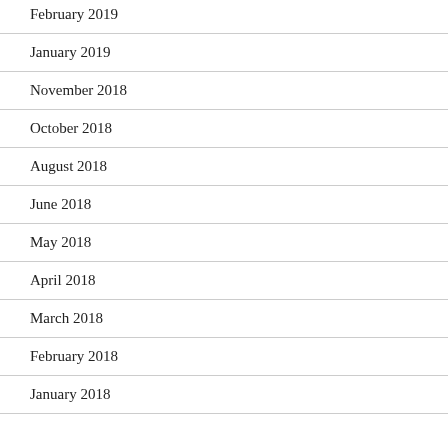February 2019
January 2019
November 2018
October 2018
August 2018
June 2018
May 2018
April 2018
March 2018
February 2018
January 2018